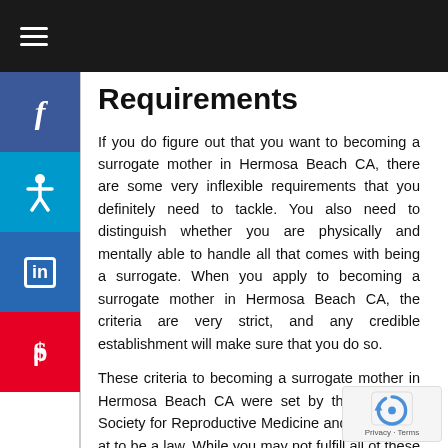Requirements
If you do figure out that you want to becoming a surrogate mother in Hermosa Beach CA, there are some very inflexible requirements that you definitely need to tackle. You also need to distinguish whether you are physically and mentally able to handle all that comes with being a surrogate. When you apply to becoming a surrogate mother in Hermosa Beach CA, the criteria are very strict, and any credible establishment will make sure that you do so.
These criteria to becoming a surrogate mother in Hermosa Beach CA were set by the American Society for Reproductive Medicine and are looked at to be a law. While you may not fulfill all of these requirements, you might fulfill some of them and can work toward satisfying the others– sometimes, a firm will aid you get